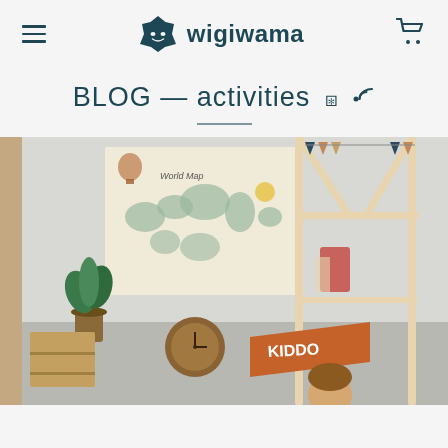wigiwama
BLOG — activities
[Figure (photo): Children's bedroom with a wooden house-frame bed structure, colorful bunting flags, a world map wall tapestry, a potted plant, a round wicker clock, a 'KIDDO' pennant flag, and a child visible at the bottom right.]